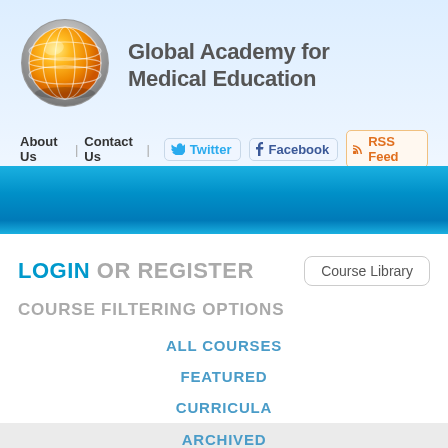[Figure (logo): Orange globe logo for Global Academy for Medical Education]
Global Academy for Medical Education
About Us | Contact Us | Twitter | Facebook | RSS Feed
[Figure (other): Blue gradient banner bar]
LOGIN OR REGISTER
Course Library
COURSE FILTERING OPTIONS
ALL COURSES
FEATURED
CURRICULA
ARCHIVED